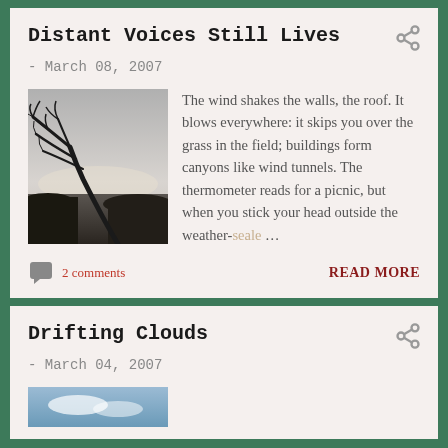Distant Voices Still Lives
- March 08, 2007
[Figure (photo): Black and white photo of a windswept tree leaning heavily to one side against a grey sky, with dark landscape in background]
The wind shakes the walls, the roof. It blows everywhere: it skips you over the grass in the field; buildings form canyons like wind tunnels. The thermometer reads for a picnic, but when you stick your head outside the weather-seale ...
2 comments
READ MORE
Drifting Clouds
- March 04, 2007